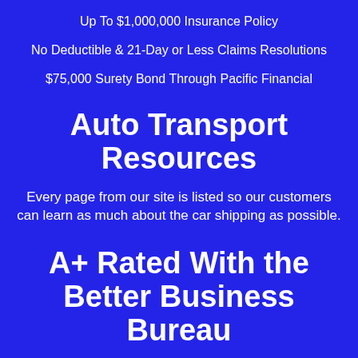Up To $1,000,000 Insurance Policy
No Deductible & 21-Day or Less Claims Resolutions
$75,000 Surety Bond Through Pacific Financial
Auto Transport Resources
Every page from our site is listed so our customers can learn as much about the car shipping as possible.
A+ Rated With the Better Business Bureau